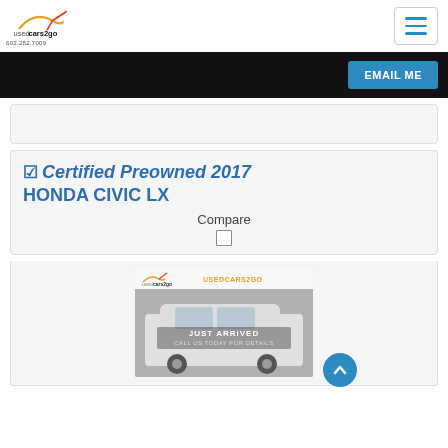usedcars2go — 602.282.7009
EMAIL ME
☑ Certified Preowned 2017 HONDA CIVIC LX
Compare
[Figure (photo): White 2017 Honda Civic LX with JUST ARRIVED overlay and USEDCARS2GO branding on the image]